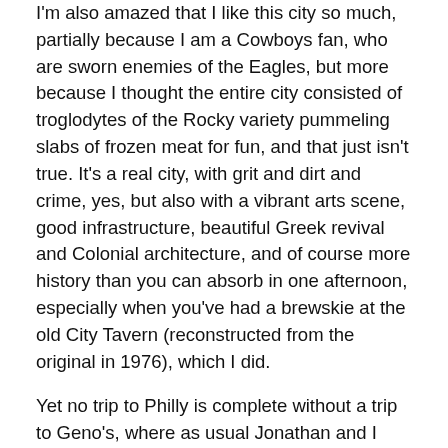I'm also amazed that I like this city so much, partially because I am a Cowboys fan, who are sworn enemies of the Eagles, but more because I thought the entire city consisted of troglodytes of the Rocky variety pummeling slabs of frozen meat for fun, and that just isn't true.  It's a real city, with grit and dirt and crime, yes, but also with a vibrant arts scene, good infrastructure, beautiful Greek revival and Colonial architecture, and of course more history than you can absorb in one afternoon, especially when you've had a brewskie at the old City Tavern (reconstructed from the original in 1976), which I did.
Yet no trip to Philly is complete without a trip to Geno's, where as usual Jonathan and I start our tour with food.  We decide to split a Philly Cheese Steak sandwich, because we are watching our girlish figures, and then, after a brief pause, split another one.  The sandwich has